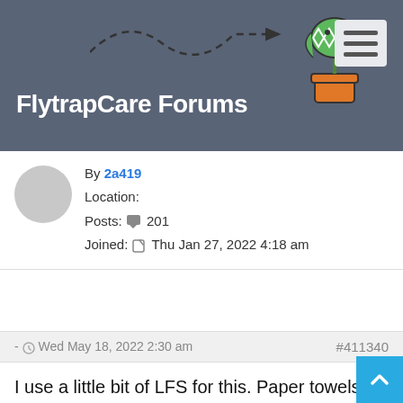FlytrapCare Forums
By 2a419
Location:
Posts: 201
Joined: Thu Jan 27, 2022 4:18 am
- Wed May 18, 2022 2:30 am  #411340
I use a little bit of LFS for this. Paper towels probably work too, but LFS "Feels Right" to me, since it's already something you put the plants in...

I don't think it'll matter if the paper towel is damp or dry. It's about to have damp peat on one side and a tray of water on the other (If you top water, this will at least happen after